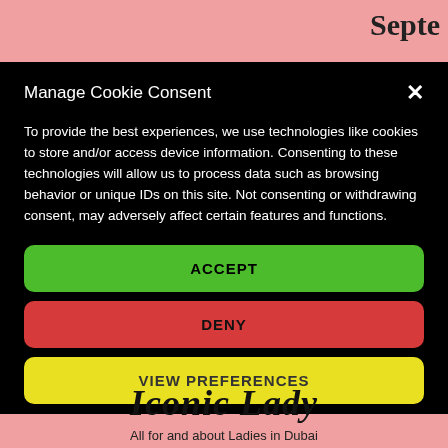[Figure (screenshot): Pink/salmon background with partial website header showing 'Septe' text clipped at right edge, and website logo text and tagline at bottom]
Manage Cookie Consent
To provide the best experiences, we use technologies like cookies to store and/or access device information. Consenting to these technologies will allow us to process data such as browsing behavior or unique IDs on this site. Not consenting or withdrawing consent, may adversely affect certain features and functions.
ACCEPT
DENY
VIEW PREFERENCES
Iconic Lady
All for and about Ladies in Dubai